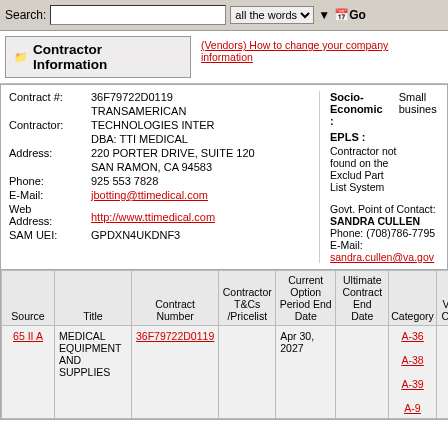Search: [input] all the words [dropdown] Go
Contractor Information
(Vendors) How to change your company information
| Contract #: | Contractor: | Address: | Phone: | E-Mail: | Web Address: | SAM UEI: | Socio-Economic: | EPLS: | Govt. Point of Contact: |
| --- | --- | --- | --- | --- | --- | --- | --- | --- | --- |
| 36F79722D0119 | TRANSAMERICAN TECHNOLOGIES INTER DBA: TTI MEDICAL | 220 PORTER DRIVE, SUITE 120 SAN RAMON, CA 94583 | 925 553 7828 | jbotting@ttimedical.com | http://www.ttimedical.com | GPDXN4UKDNF3 | Small business | Contractor not found on the Excluded Party List System | SANDRA CULLEN Phone: (708)786-7795 E-Mail: sandra.cullen@va.gov |
| Source | Title | Contract Number | Contractor T&Cs /Pricelist | Current Option Period End Date | Ultimate Contract End Date | Category | View Catalog |
| --- | --- | --- | --- | --- | --- | --- | --- |
| 65 II A | MEDICAL EQUIPMENT AND SUPPLIES | 36F79722D0119 |  | Apr 30, 2027 |  | A-36 A-38 A-39 A-9 |  |